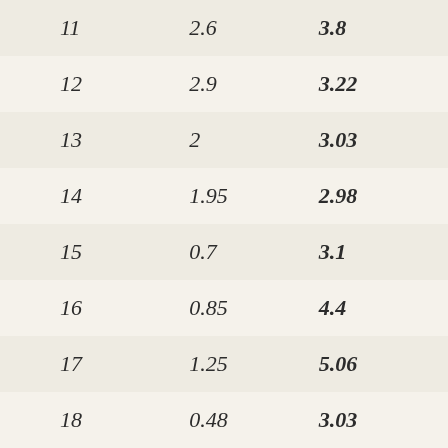| 11 | 2.6 | 3.8 |
| 12 | 2.9 | 3.22 |
| 13 | 2 | 3.03 |
| 14 | 1.95 | 2.98 |
| 15 | 0.7 | 3.1 |
| 16 | 0.85 | 4.4 |
| 17 | 1.25 | 5.06 |
| 18 | 0.48 | 3.03 |